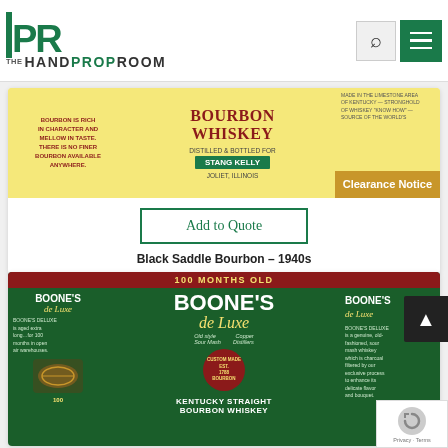[Figure (screenshot): The Hand Prop Room website header with HPR logo in green, site name 'THE HANDPROPROOM', search icon, and hamburger menu icon]
[Figure (photo): Black Saddle Bourbon Whiskey label from the 1940s — yellow label with red text reading BOURBON WHISKEY, distilled & bottled for STANG KELLY, Joliet Illinois, with Clearance Notice badge]
Add to Quote
Black Saddle Bourbon – 1940s
[Figure (photo): Boone's de Luxe Kentucky Straight Bourbon Whiskey label — dark green label with red and gold text, 100 Months Old, Custom Made Est. 1788 Bourbon medallion, aged extra long in open air warehouses]